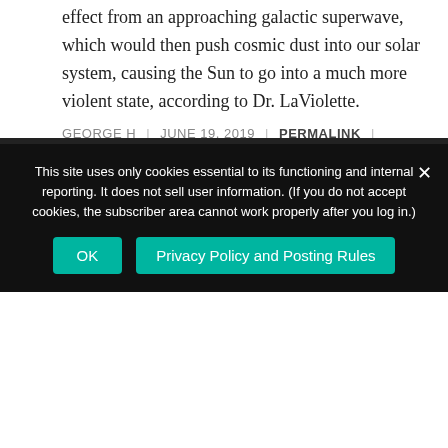effect from an approaching galactic superwave, which would then push cosmic dust into our solar system, causing the Sun to go into a much more violent state, according to Dr. LaViolette.
GEORGE H | JUNE 19, 2019 | PERMALINK |
LOG IN TO REPLY
LEAVE A REPLY
You must be logged in to post a comment.
This site uses only cookies essential to its functioning and internal reporting. It does not sell user information. (If you do not accept cookies, the subscriber area cannot work properly after you log in.)